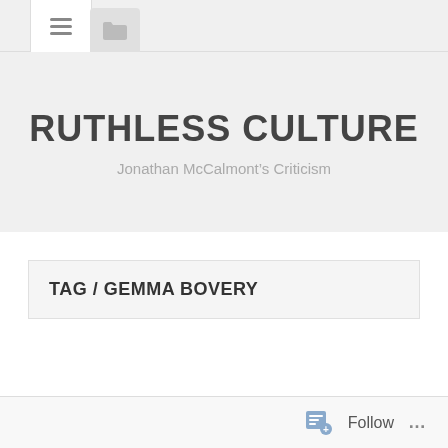[Figure (screenshot): Navigation bar with hamburger menu icon (three horizontal lines) on active white tab, and a folder icon on an inactive grey tab]
RUTHLESS CULTURE
Jonathan McCalmont’s Criticism
TAG / GEMMA BOVERY
Follow ...